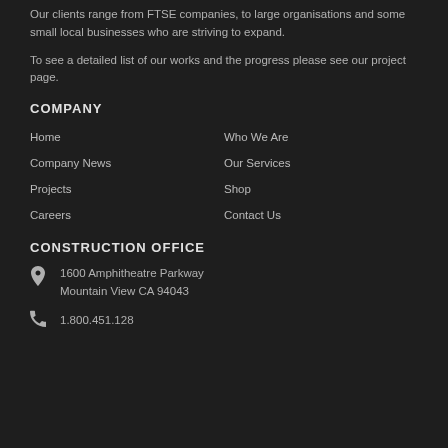Our clients range from FTSE companies, to large organisations and some small local businesses who are striving to expand.
To see a detailed list of our works and the progress please see our project page.
COMPANY
Home
Who We Are
Company News
Our Services
Projects
Shop
Careers
Contact Us
CONSTRUCTION OFFICE
1600 Amphitheatre Parkway
Mountain View CA 94043
1.800.451.128